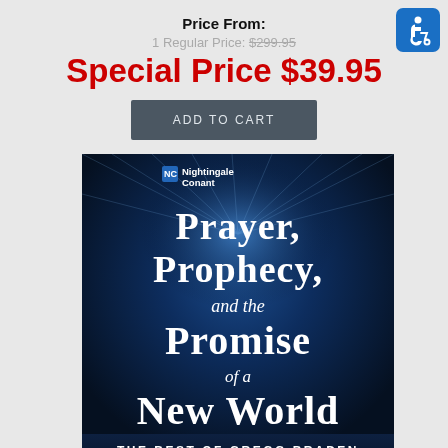Price From:
1 Regular Price: $299.95
Special Price $39.95
ADD TO CART
[Figure (illustration): Book cover for 'Prayer, Prophecy, and the Promise of a New World — The Best of Gregg Braden' published by Nightingale Conant. Dark blue background with radiating light rays and large white serif text.]